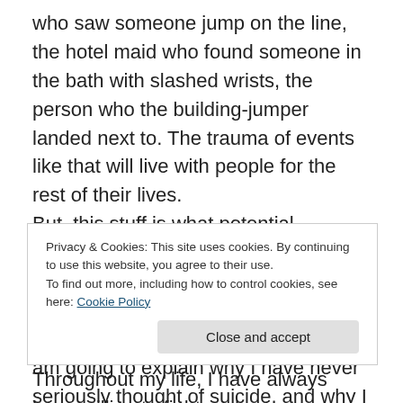who saw someone jump on the line, the hotel maid who found someone in the bath with slashed wrists, the person who the building-jumper landed next to. The trauma of events like that will live with people for the rest of their lives.
But, this stuff is what potential suicides know- rationally anyway, as this stuff can be very difficult for the soul to comprehend. So, instead of listing more incoherent ramblings, I am going to explain why I have never seriously thought of suicide, and why I live how I do. I
hope it can help you too.
Privacy & Cookies: This site uses cookies. By continuing to use this website, you agree to their use.
To find out more, including how to control cookies, see here: Cookie Policy
Close and accept
Throughout my life, I have always been willing to fight and